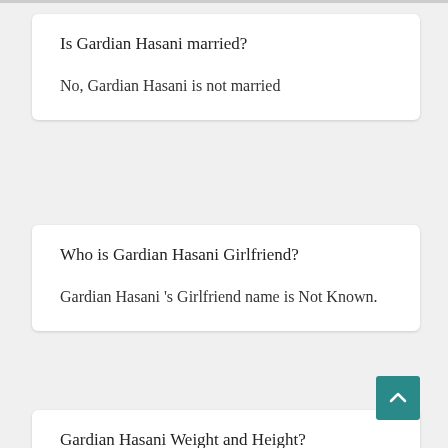Is Gardian Hasani married?
No, Gardian Hasani is not married
Who is Gardian Hasani Girlfriend?
Gardian Hasani 's Girlfriend name is Not Known.
Gardian Hasani Weight and Height?